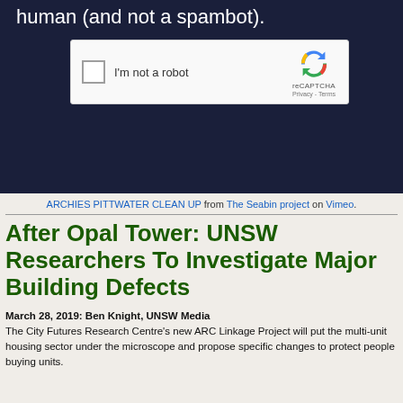human (and not a spambot).
[Figure (screenshot): reCAPTCHA widget with checkbox labeled 'I'm not a robot' and the reCAPTCHA logo with Privacy and Terms links]
ARCHIES PITTWATER CLEAN UP from The Seabin project on Vimeo.
After Opal Tower: UNSW Researchers To Investigate Major Building Defects
March 28, 2019: Ben Knight, UNSW Media
The City Futures Research Centre's new ARC Linkage Project will put the multi-unit housing sector under the microscope and propose specific changes to protect people buying units.